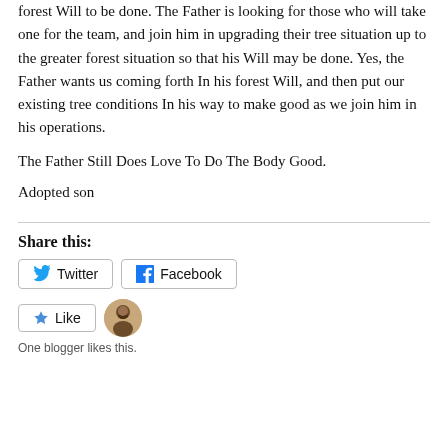forest Will to be done. The Father is looking for those who will take one for the team, and join him in upgrading their tree situation up to the greater forest situation so that his Will may be done. Yes, the Father wants us coming forth In his forest Will, and then put our existing tree conditions In his way to make good as we join him in his operations.
The Father Still Does Love To Do The Body Good.
Adopted son
Share this:
Twitter  Facebook
Like
One blogger likes this.